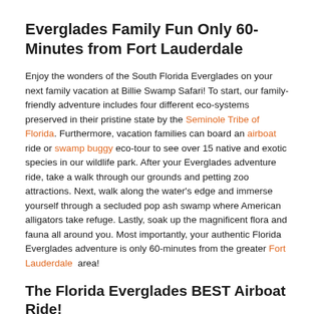Everglades Family Fun Only 60-Minutes from Fort Lauderdale
Enjoy the wonders of the South Florida Everglades on your next family vacation at Billie Swamp Safari! To start, our family-friendly adventure includes four different eco-systems preserved in their pristine state by the Seminole Tribe of Florida. Furthermore, vacation families can board an airboat ride or swamp buggy eco-tour to see over 15 native and exotic species in our wildlife park. After your Everglades adventure ride, take a walk through our grounds and petting zoo attractions. Next, walk along the water's edge and immerse yourself through a secluded pop ash swamp where American alligators take refuge. Lastly, soak up the magnificent flora and fauna all around you. Most importantly, your authentic Florida Everglades adventure is only 60-minutes from the greater Fort Lauderdale area!
The Florida Everglades BEST Airboat Ride!
Come aboard one of our sleek airboats and voyage onto the river of grass for an amazing Everglades airboat ride! Our airboat guides will take you on a journey of a lifetime to…